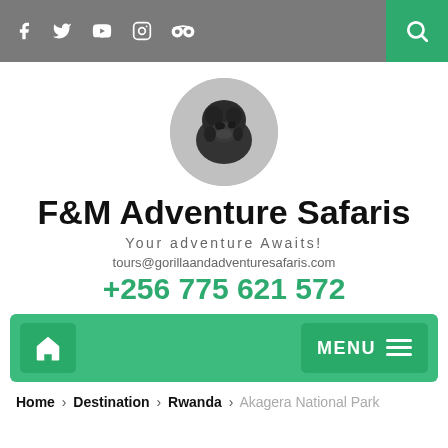Social media icons (Facebook, Twitter, YouTube, Instagram, TripAdvisor) and search button
[Figure (logo): Black and white photo of a gorilla's head in a circular crop, serving as the company logo]
F&M Adventure Safaris
Your adventure Awaits!
tours@gorillaandadventuresafaris.com
+256 775 621 572
MENU
Home > Destination > Rwanda > Akagera National Park